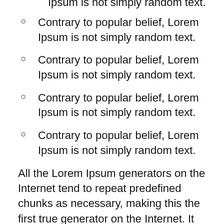Contrary to popular belief, Lorem Ipsum is not simply random text.
Contrary to popular belief, Lorem Ipsum is not simply random text.
Contrary to popular belief, Lorem Ipsum is not simply random text.
Contrary to popular belief, Lorem Ipsum is not simply random text.
All the Lorem Ipsum generators on the Internet tend to repeat predefined chunks as necessary, making this the first true generator on the Internet. It uses a dictionary of over 200 Latin words, combined with a handful of model sentence structures, to generate Lorem Ipsum which looks reasonable. The generated Lorem Ipsum is